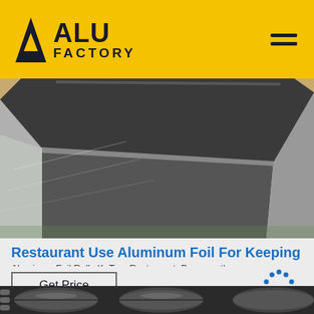ALU FACTORY
[Figure (photo): Close-up of stacked aluminum sheets/plates showing the corner edges with metallic silver and dark surface finish]
Restaurant Use Aluminum Foil For Keeping
Aluminum Foil Rolls KaTom Restaurant. Because the oper...
Get Price
[Figure (photo): Industrial aluminum foil rolling machine showing cylindrical rollers in a factory setting]